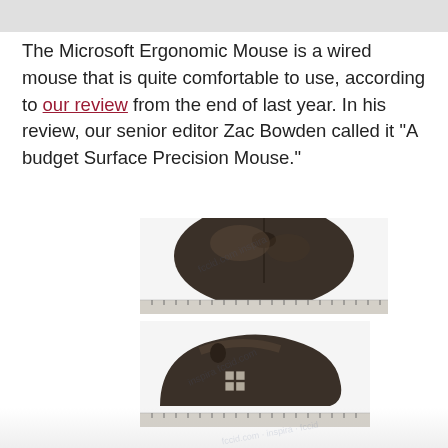The Microsoft Ergonomic Mouse is a wired mouse that is quite comfortable to use, according to our review from the end of last year. In his review, our senior editor Zac Bowden called it "A budget Surface Precision Mouse."
[Figure (photo): Two photos of the Microsoft Ergonomic Mouse from different angles (top view and side view), each shown with a ruler for scale. Watermark text overlaid on images. A red logo badge visible in upper right area of the image block.]